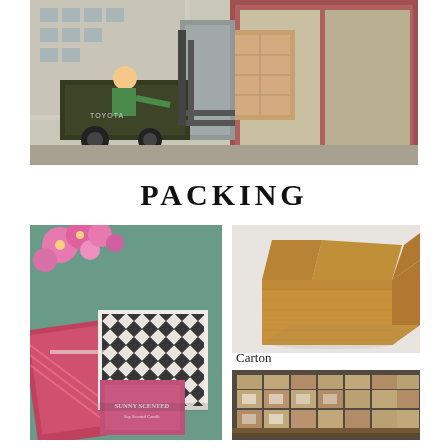[Figure (photo): Forklift loading large wooden crates/furniture into a shipping container. Worker in green shirt operating Toyota forklift. Industrial loading dock scene.]
PACKING
[Figure (photo): Scented candle products in decorative packaging with geometric black and white pattern box and pink box labeled 'SUNNY SCENTED Soy Scented Candle', surrounded by pink flowers and gift wrapping.]
[Figure (photo): Open brown corrugated cardboard shipping carton/box on white background.]
Carton
[Figure (photo): Warehouse scene with stacked and wrapped pallets of boxed goods, shrink-wrapped and ready for shipping.]